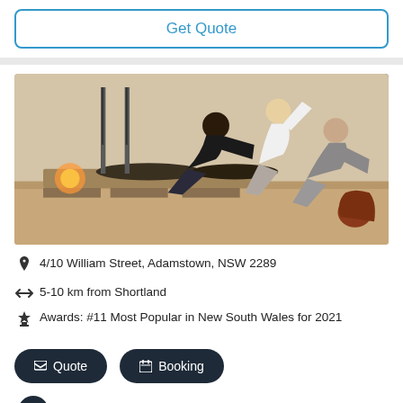Get Quote
[Figure (photo): People doing yoga/Pilates exercises in a studio, some performing side stretches]
4/10 William Street, Adamstown, NSW 2289
5-10 km from Shortland
Awards: #11 Most Popular in New South Wales for 2021
Quote
Booking
Flexible and affordable
Become part of one of the largest alumni networks in the world. Ohio State Online
Learn More